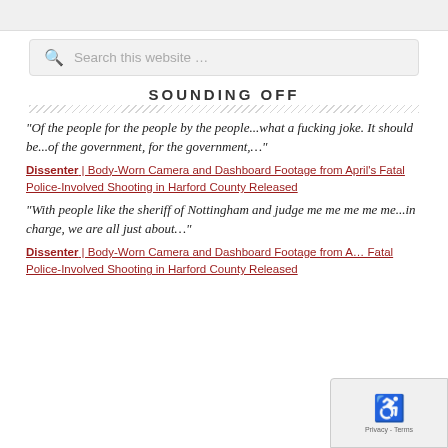[Figure (screenshot): Top banner area, light gray background]
[Figure (screenshot): Search box with magnifier icon and placeholder text 'Search this website …']
SOUNDING OFF
“Of the people for the people by the people...what a fucking joke. It should be...of the government, for the government,…”
Dissenter | Body-Worn Camera and Dashboard Footage from April's Fatal Police-Involved Shooting in Harford County Released
“With people like the sheriff of Nottingham and judge me me me me me...in charge, we are all just about…”
Dissenter | Body-Worn Camera and Dashboard Footage from A… Fatal Police-Involved Shooting in Harford County Released